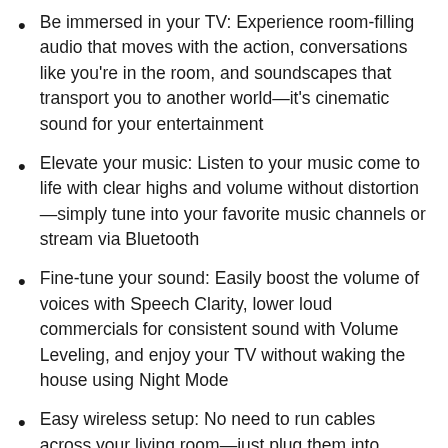Be immersed in your TV: Experience room-filling audio that moves with the action, conversations like you're in the room, and soundscapes that transport you to another world—it's cinematic sound for your entertainment
Elevate your music: Listen to your music come to life with clear highs and volume without distortion—simply tune into your favorite music channels or stream via Bluetooth
Fine-tune your sound: Easily boost the volume of voices with Speech Clarity, lower loud commercials for consistent sound with Volume Leveling, and enjoy your TV without waking the house using Night Mode
Easy wireless setup: No need to run cables across your living room—just plug them into power and wirelessly connect them to your Roku TV, Roku Streambar, Roku Streambar Pro, or Roku Smart Soundbar
Bluetooth streaming: Stream music, podcasts, and more